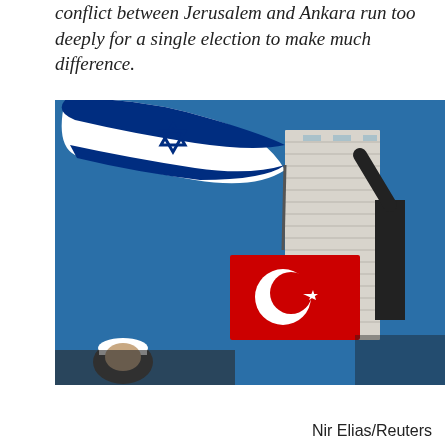conflict between Jerusalem and Ankara run too deeply for a single election to make much difference.
[Figure (photo): Outdoor photograph taken from a low angle looking upward. On the left, a large Israeli flag (white with blue horizontal stripes and Star of David) is waving in the sky. On the right, a person's arm is raised holding a Turkish flag (red with white crescent and star). In the background is a tall white multi-story building against a bright blue sky. In the lower left, a person wearing a white cap is partially visible.]
Nir Elias/Reuters